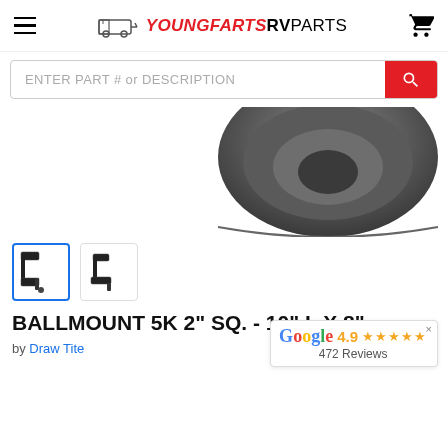YOUNGFARTS RVPARTS
ENTER PART # or DESCRIPTION
[Figure (photo): Partial view of a dark gray/black product (ball mount) from above, showing a curved/ridged surface]
[Figure (photo): Two thumbnail images of a black ball mount hitch drop bracket, shown from different angles. First thumbnail is selected (blue border).]
BALLMOUNT 5K 2" SQ. - 10" L X 8"
by Draw Tite
4.9 ★★★★★ 472 Reviews